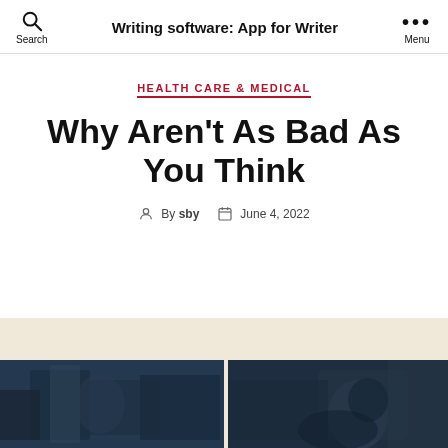Writing software: App for Writer
HEALTH CARE & MEDICAL
Why Aren't As Bad As You Think
By sby  June 4, 2022
[Figure (photo): Two dark toned photos side by side showing people, placed at the bottom of the page on a tan/cream background strip]